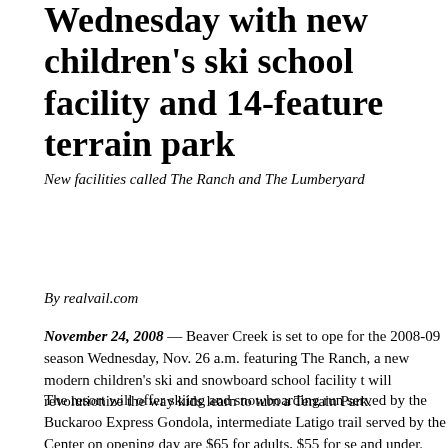Wednesday with new children's ski school facility and 14-feature terrain park
New facilities called The Ranch and The Lumberyard
By realvail.com
November 24, 2008 — Beaver Creek is set to open for the 2008-09 season Wednesday, Nov. 26 a.m. featuring The Ranch, a new modern children's ski and snowboard school facility that will revolutionize the way kids learn to turn and Terrain Park.
The resort will offer skiing and snowboarding run served by the Buckaroo Express Gondola, intermediate Latigo trail served by the Center on opening day are $65 for adults, $55 for seniors and under.
“Mountain operations crews have been working the slopes for our 28th season,” said John Ga for Beaver Creek. “We’re excited to get the se